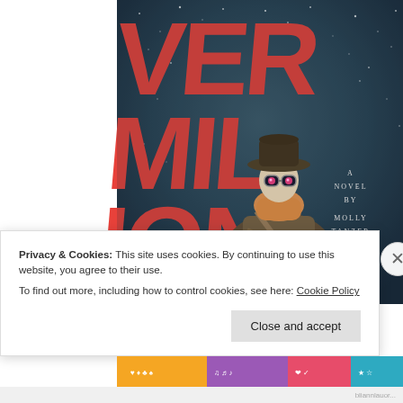[Figure (illustration): Book cover for 'Vermilion: A Novel by Molly Tanzer'. Dark teal/slate starry background with large red brushstroke lettering spelling VERMILION. A figure in the center wearing a cowboy hat, goggles with glowing pink eyes, a face scarf, and a long coat holding a rifle/weapon. Text on right side reads 'A NOVEL BY MOLLY TANZER' in small spaced letters.]
Privacy & Cookies: This site uses cookies. By continuing to use this website, you agree to their use.
To find out more, including how to control cookies, see here: Cookie Policy
[Figure (infographic): Colorful horizontal banner strip at the bottom with various small icons and colorful segments in orange, purple, and other colors.]
bliannlauor...